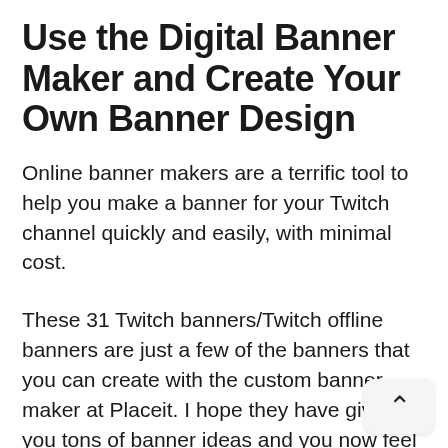Use the Digital Banner Maker and Create Your Own Banner Design
Online banner makers are a terrific tool to help you make a banner for your Twitch channel quickly and easily, with minimal cost.
These 31 Twitch banners/Twitch offline banners are just a few of the banners that you can create with the custom banner maker at Placeit. I hope they have given you tons of banner ideas and you now feel confident that you know how to make a banner for your Twitch channel. Use your favourite template, make your own banner and share it with us.